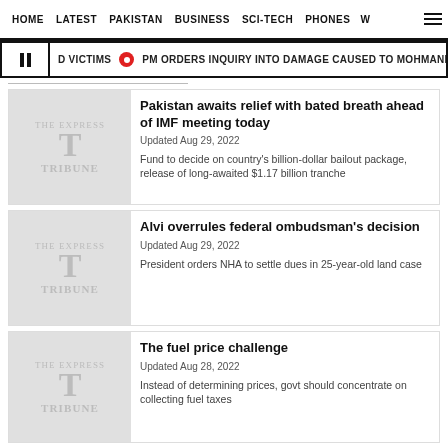HOME  LATEST  PAKISTAN  BUSINESS  SCI-TECH  PHONES  W
D VICTIMS  PM ORDERS INQUIRY INTO DAMAGE CAUSED TO MOHMAND DAM
Pakistan awaits relief with bated breath ahead of IMF meeting today
Updated Aug 29, 2022
Fund to decide on country's billion-dollar bailout package, release of long-awaited $1.17 billion tranche
Alvi overrules federal ombudsman's decision
Updated Aug 29, 2022
President orders NHA to settle dues in 25-year-old land case
The fuel price challenge
Updated Aug 28, 2022
Instead of determining prices, govt should concentrate on collecting fuel taxes